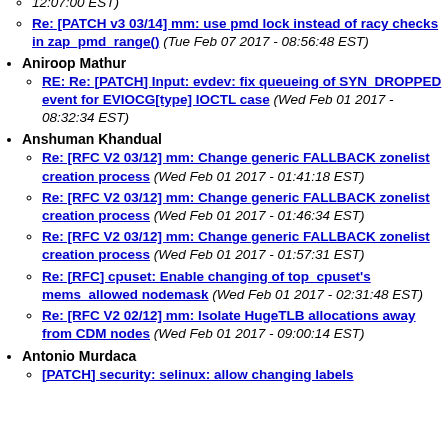(truncated top) 12:07:00 EST)
Re: [PATCH v3 03/14] mm: use pmd lock instead of racy checks in zap_pmd_range() (Tue Feb 07 2017 - 08:56:48 EST)
Aniroop Mathur
RE: Re: [PATCH] Input: evdev: fix queueing of SYN_DROPPED event for EVIOCG[type] IOCTL case (Wed Feb 01 2017 - 08:32:34 EST)
Anshuman Khandual
Re: [RFC V2 03/12] mm: Change generic FALLBACK zonelist creation process (Wed Feb 01 2017 - 01:41:18 EST)
Re: [RFC V2 03/12] mm: Change generic FALLBACK zonelist creation process (Wed Feb 01 2017 - 01:46:34 EST)
Re: [RFC V2 03/12] mm: Change generic FALLBACK zonelist creation process (Wed Feb 01 2017 - 01:57:31 EST)
Re: [RFC] cpuset: Enable changing of top_cpuset's mems_allowed nodemask (Wed Feb 01 2017 - 02:31:48 EST)
Re: [RFC V2 02/12] mm: Isolate HugeTLB allocations away from CDM nodes (Wed Feb 01 2017 - 09:00:14 EST)
Antonio Murdaca
[PATCH] security: selinux: allow changing labels (truncated)